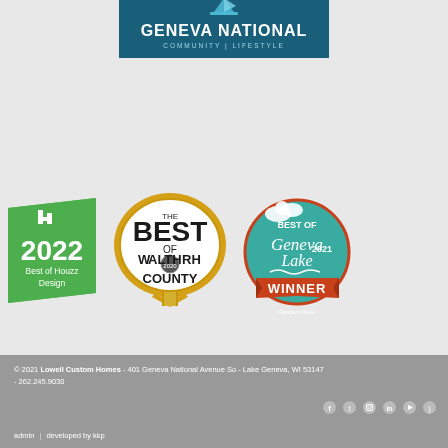[Figure (logo): Geneva National Community Lifestyle logo — dark teal background with sailboat icon and bold white text 'GENEVA NATIONAL' and 'COMMUNITY | LIFESTYLE' below]
[Figure (logo): Houzz 2022 Best of Houzz Design badge — green parallelogram shape with white 'h' icon, bold '2022', and 'Best of Houzz Design' text]
[Figure (logo): The Best of Walworth County 2020 badge — gold oval with black bold text 'THE BEST OF WALWORTH COUNTY' and a gold ribbon/medallion at bottom]
[Figure (logo): Best of Geneva Lake 2021 Winner badge — teal circle with script 'Geneva Lake' text, red ribbon banner with 'WINNER', clouds at top, and 'Readers News' at bottom]
© 2021 Lowell Custom Homes - 401 Geneva National Avenue So - Lake Geneva, WI 53147 - 262.245.9030
admin | developed by kkp